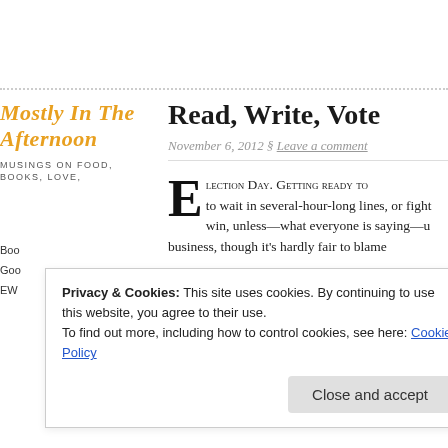Read, Write, Vote
November 6, 2012 § Leave a comment
Election Day. Getting ready to wait in several-hour-long lines, or fight win, unless—what everyone is saying—u business, though it's hardly fair to blame
Mostly in the Afternoon
MUSINGS ON FOOD, BOOKS, LOVE,
Privacy & Cookies: This site uses cookies. By continuing to use this website, you agree to their use. To find out more, including how to control cookies, see here: Cookie Policy
Close and accept